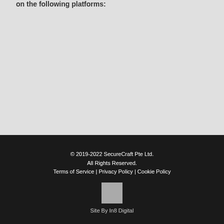on the following platforms:
© 2019-2022 SecureCraft Pte Ltd. All Rights Reserved. Terms of Service | Privacy Policy | Cookie Policy
[Figure (other): Small grey square icon, likely a social media or logo icon]
Site By In8 Digital